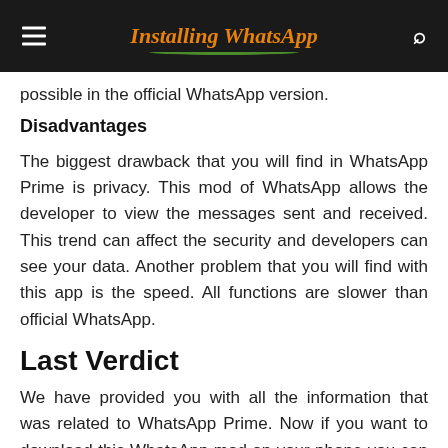Installing WhatsApp
possible in the official WhatsApp version.
Disadvantages
The biggest drawback that you will find in WhatsApp Prime is privacy. This mod of WhatsApp allows the developer to view the messages sent and received. This trend can affect the security and developers can see your data. Another problem that you will find with this app is the speed. All functions are slower than official WhatsApp.
Last Verdict
We have provided you with all the information that was related to WhatsApp Prime. Now if you want to download this WhatsApp mod on your phone you can easily do so with